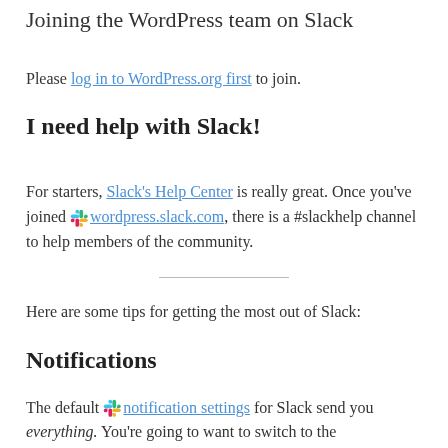Joining the WordPress team on Slack
Please log in to WordPress.org first to join.
I need help with Slack!
For starters, Slack's Help Center is really great. Once you've joined wordpress.slack.com, there is a #slackhelp channel to help members of the community.
Here are some tips for getting the most out of Slack:
Notifications
The default notification settings for Slack send you everything. You're going to want to switch to the recommended settings, which are for mentions and direct messages. You can also tweak these settings further, like